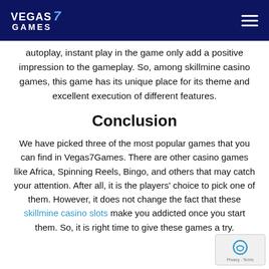VEGAS 7 GAMES
autoplay, instant play in the game only add a positive impression to the gameplay. So, among skillmine casino games, this game has its unique place for its theme and excellent execution of different features.
Conclusion
We have picked three of the most popular games that you can find in Vegas7Games. There are other casino games like Africa, Spinning Reels, Bingo, and others that may catch your attention. After all, it is the players' choice to pick one of them. However, it does not change the fact that these skillmine casino slots make you addicted once you start them. So, it is right time to give these games a try.